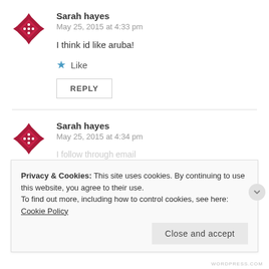[Figure (illustration): Red decorative avatar icon resembling a diamond/star pattern with dots]
Sarah hayes
May 25, 2015 at 4:33 pm
I think id like aruba!
Like
REPLY
[Figure (illustration): Red decorative avatar icon resembling a diamond/star pattern with dots]
Sarah hayes
May 25, 2015 at 4:34 pm
I follow through email
Privacy & Cookies: This site uses cookies. By continuing to use this website, you agree to their use.
To find out more, including how to control cookies, see here: Cookie Policy
Close and accept